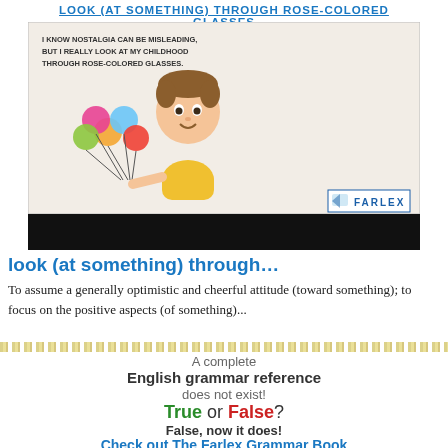LOOK (AT SOMETHING) THROUGH ROSE-COLORED GLASSES
[Figure (illustration): Screenshot of Farlex idiom page showing a cartoon boy holding balloons and a hand writing, with the title 'LOOK (AT SOMETHING) THROUGH ROSE-COLORED GLASSES' and quote 'I KNOW NOSTALGIA CAN BE MISLEADING, BUT I REALLY LOOK AT MY CHILDHOOD THROUGH ROSE-COLORED GLASSES.' with Farlex logo]
look (at something) through…
To assume a generally optimistic and cheerful attitude (toward something); to focus on the positive aspects (of something)...
A complete
English grammar reference
does not exist!
True or False?
False, now it does!
Check out The Farlex Grammar Book
[Figure (illustration): Three book covers for The Farlex Grammar Book series: Complete English Grammar Rules, Complete English Punctuation Rules, Complete English Spelling & Pronunciation Rules]